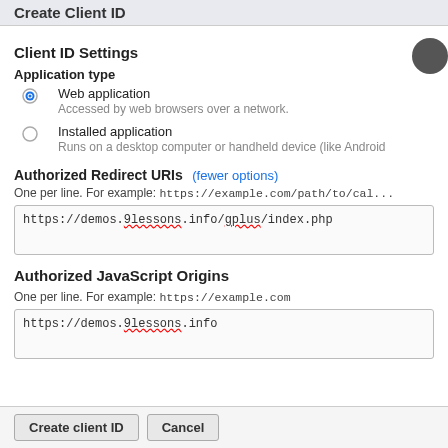Create Client ID
Client ID Settings
Application type
Web application
Accessed by web browsers over a network.
Installed application
Runs on a desktop computer or handheld device (like Android...
Authorized Redirect URIs (fewer options)
One per line. For example: https://example.com/path/to/cal...
https://demos.9lessons.info/gplus/index.php
Authorized JavaScript Origins
One per line. For example: https://example.com
https://demos.9lessons.info
Create client ID   Cancel